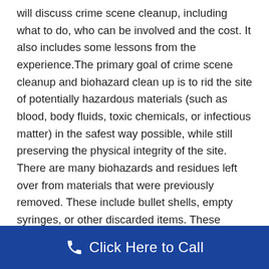will discuss crime scene cleanup, including what to do, who can be involved and the cost. It also includes some lessons from the experience.The primary goal of crime scene cleanup and biohazard clean up is to rid the site of potentially hazardous materials (such as blood, body fluids, toxic chemicals, or infectious matter) in the safest way possible, while still preserving the physical integrity of the site. There are many biohazards and residues left over from materials that were previously removed. These include bullet shells, empty syringes, or other discarded items. These residues can pose serious health hazards or even death due to contamination, especially if such contamination is ongoing. Biohazards are substances that may still pose a threat to the public or the environment after the.
Click Here to Call